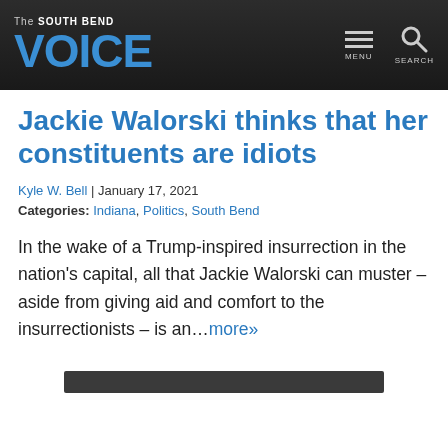The South Bend VOICE
Jackie Walorski thinks that her constituents are idiots
Kyle W. Bell | January 17, 2021
Categories: Indiana, Politics, South Bend
In the wake of a Trump-inspired insurrection in the nation’s capital, all that Jackie Walorski can muster – aside from giving aid and comfort to the insurrectionists – is an…more»